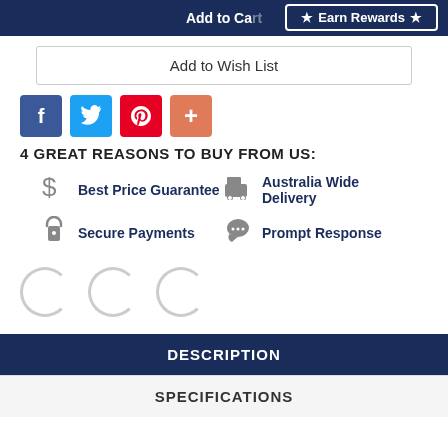Add to Cart | Earn Rewards
Add to Wish List
[Figure (infographic): Social sharing icons: Facebook (blue), Twitter (blue), Pinterest (red), Add/Plus (orange-red)]
4 GREAT REASONS TO BUY FROM US:
Best Price Guarantee
Australia Wide Delivery
Secure Payments
Prompt Response
[Figure (infographic): Three loading spinner circles (partial circles, grey)]
DESCRIPTION
SPECIFICATIONS